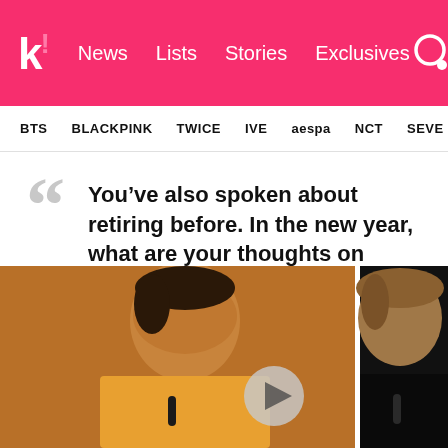k! News Lists Stories Exclusives
BTS BLACKPINK TWICE IVE aespa NCT SEVE
You’ve also spoken about retiring before. In the new year, what are your thoughts on that? —Andy Trieu
[Figure (photo): Two men photographed side by side, one wearing an orange/yellow jacket, the other in a black jacket, in a dark setting. A play button overlay appears between them.]